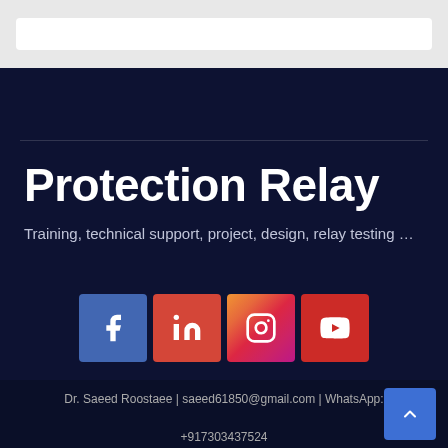Protection Relay
Training, technical support, project, design, relay testing …
[Figure (other): Social media icons: Facebook, LinkedIn, Instagram, YouTube]
Dr. Saeed Roostaee | saeed61850@gmail.com | WhatsApp:
+917303437524